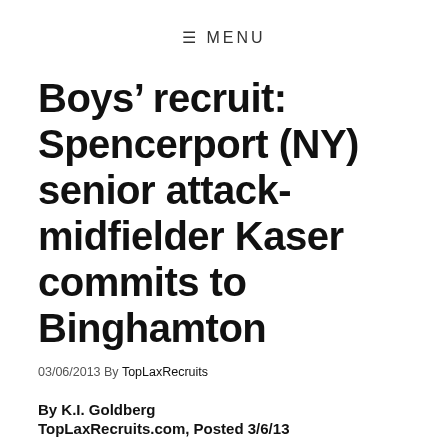≡ MENU
Boys' recruit: Spencerport (NY) senior attack-midfielder Kaser commits to Binghamton
03/06/2013 By TopLaxRecruits
By K.I. Goldberg
TopLaxRecruits.com, Posted 3/6/13